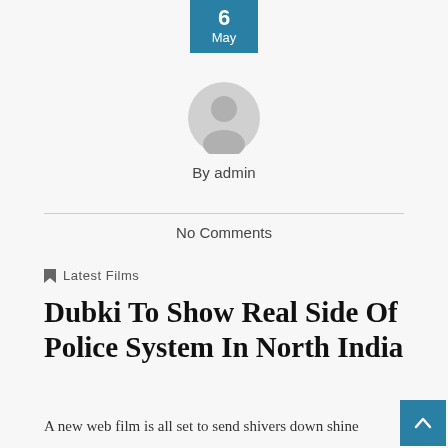6 May
[Figure (illustration): Grey avatar/user profile icon - circular silhouette of a person]
By admin
No Comments
Latest Films
Dubki To Show Real Side Of Police System In North India
A new web film is all set to send shivers down shine